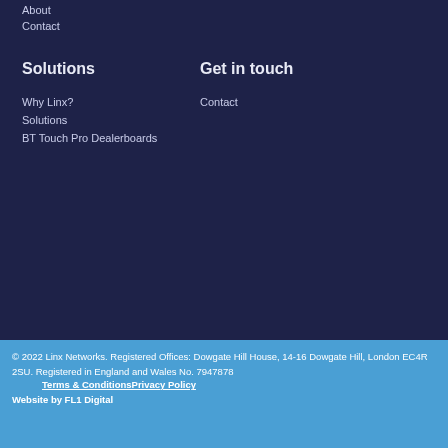About
Contact
Solutions
Get in touch
Why Linx?
Solutions
BT Touch Pro Dealerboards
Contact
© 2022 Linx Networks. Registered Offices: Dowgate Hill House, 14-16 Dowgate Hill, London EC4R 2SU. Registered in England and Wales No. 7947878
Terms & ConditionsPrivacy Policy
Website by FL1 Digital